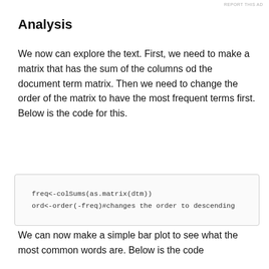REPORT THIS AD
Analysis
We now can explore the text. First, we need to make a matrix that has the sum of the columns od the document term matrix. Then we need to change the order of the matrix to have the most frequent terms first. Below is the code for this.
freq<-colSums(as.matrix(dtm))
ord<-order(-freq)#changes the order to descending
We can now make a simple bar plot to see what the most common words are. Below is the code